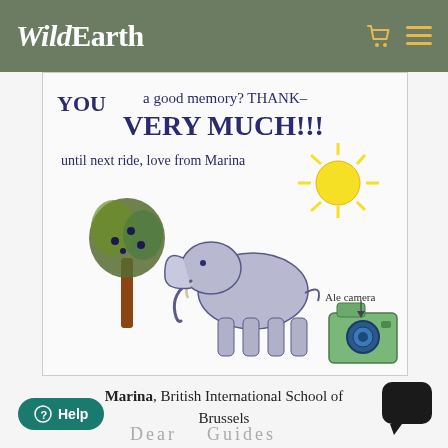WildEarth
[Figure (illustration): Child's hand-drawn thank you card showing an elephant, a tree with dark berries, a yellow sun, and a green camera labeled 'Ale camera'. Text reads: 'YOU a good memory? THANK- VERY MUCH!!! until next ride, love from Marina']
Marina, British International School of Brussels
Dear Guides